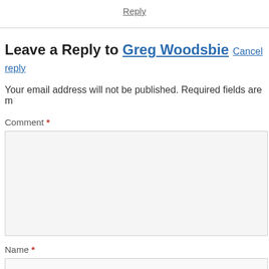Reply
Leave a Reply to Greg Woodsbie Cancel reply
Your email address will not be published. Required fields are m
Comment *
Name *